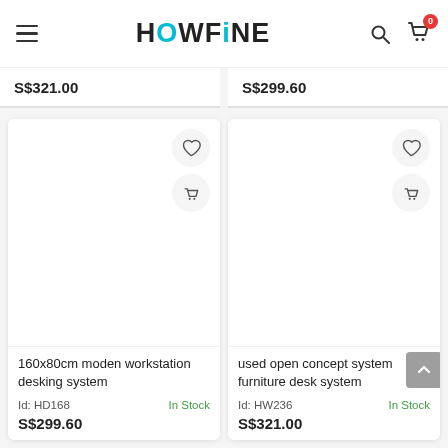HOWFiNE — navigation header with hamburger menu, logo, search icon, cart icon (badge: 0)
S$321.00
S$299.60
[Figure (screenshot): Product card 1: 160x80cm moden workstation desking system, Id: HD168, In Stock, S$299.60, with heart and cart action buttons]
[Figure (screenshot): Product card 2: used open concept system furniture desk system, Id: HW236, In Stock, S$321.00, with heart and cart action buttons]